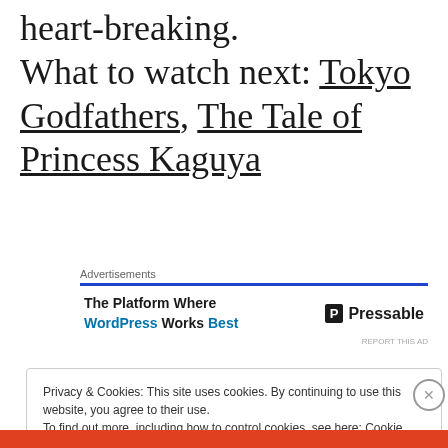heart-breaking.
What to watch next: Tokyo Godfathers, The Tale of Princess Kaguya
Advertisements
[Figure (other): Advertisement banner for Pressable: 'The Platform Where WordPress Works Best' with Pressable logo]
Privacy & Cookies: This site uses cookies. By continuing to use this website, you agree to their use.
To find out more, including how to control cookies, see here: Cookie Policy
Close and accept